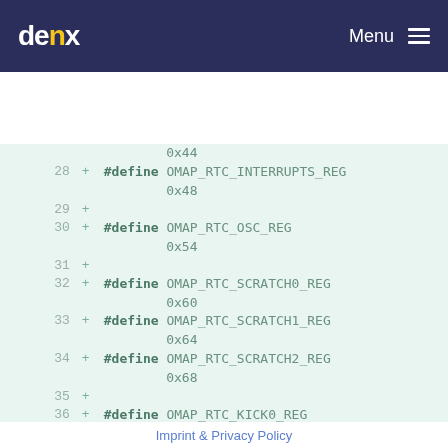denx  Menu
[Figure (screenshot): Code diff view showing C preprocessor #define macros for OMAP RTC register offsets. Lines 28-39 visible, all prefixed with '+' indicating additions. Defines: OMAP_RTC_INTERRUPTS_REG 0x48, OMAP_RTC_OSC_REG 0x54, OMAP_RTC_SCRATCH0_REG 0x60, OMAP_RTC_SCRATCH1_REG 0x64, OMAP_RTC_SCRATCH2_REG 0x68, OMAP_RTC_KICK0_REG 0x6c, OMAP_RTC_KICK1_REG 0x70, OMAP_RTC_PMIC_REG (partial)]
Imprint & Privacy Policy